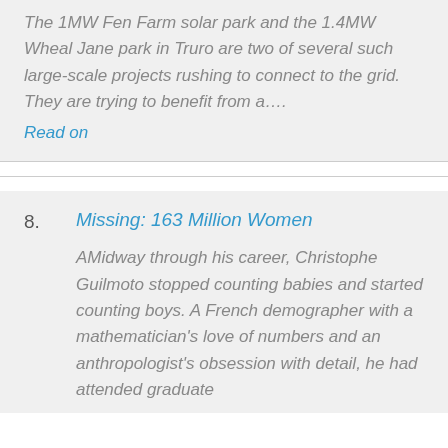The 1MW Fen Farm solar park and the 1.4MW Wheal Jane park in Truro are two of several such large-scale projects rushing to connect to the grid. They are trying to benefit from a….
Read on
8. Missing: 163 Million Women
AMidway through his career, Christophe Guilmoto stopped counting babies and started counting boys. A French demographer with a mathematician's love of numbers and an anthropologist's obsession with detail, he had attended graduate